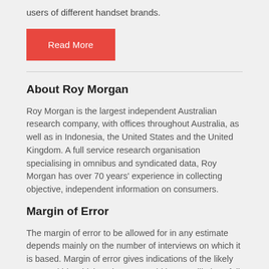users of different handset brands.
Read More
About Roy Morgan
Roy Morgan is the largest independent Australian research company, with offices throughout Australia, as well as in Indonesia, the United States and the United Kingdom. A full service research organisation specialising in omnibus and syndicated data, Roy Morgan has over 70 years' experience in collecting objective, independent information on consumers.
Margin of Error
The margin of error to be allowed for in any estimate depends mainly on the number of interviews on which it is based. Margin of error gives indications of the likely range within which estimates would be 95% likely to fall, expressed as the number of